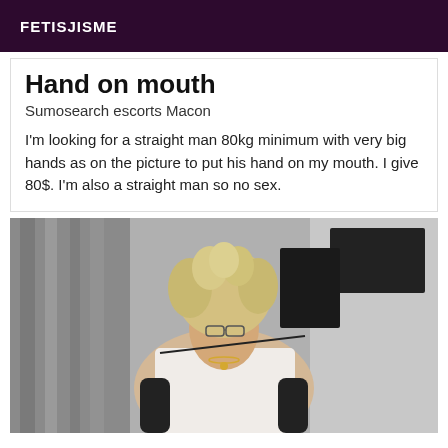FETISJISME
Hand on mouth
Sumosearch escorts Macon
I'm looking for a straight man 80kg minimum with very big hands as on the picture to put his hand on my mouth. I give 80$. I'm also a straight man so no sex.
[Figure (photo): A woman with curly blonde hair wearing glasses, a white lace top and black arm warmers, holding a rod/whip in her mouth, posing indoors]